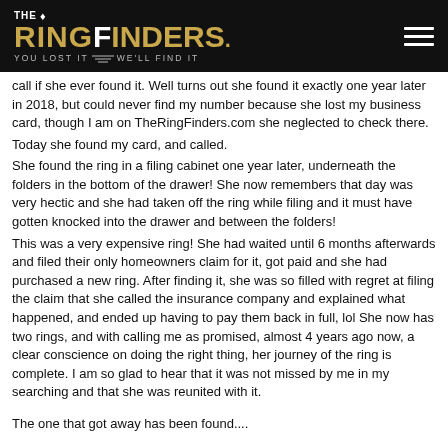THE RINGFINDERS. YOU LOST IT WE'LL FIND IT
call if she ever found it. Well turns out she found it exactly one year later in 2018, but could never find my number because she lost my business card, though I am on TheRingFinders.com she neglected to check there.
Today she found my card, and called.
She found the ring in a filing cabinet one year later, underneath the folders in the bottom of the drawer!  She now remembers that day was very hectic and she had taken off the ring while filing and it must have gotten knocked into the drawer and between the folders!
This was a very expensive ring!  She had waited until 6 months afterwards and filed their only homeowners claim for it, got paid and she had purchased a new ring.  After finding it, she was so filled with regret at filing the claim that she called the insurance company and explained what happened, and ended up having to pay them back in full, lol  She now has two rings, and with calling me as promised, almost 4 years ago now, a clear conscience on doing the right thing, her journey of the ring is complete.  I am so glad to hear that it was not missed by me in my searching and that she was reunited with it.
The one that got away has been found....